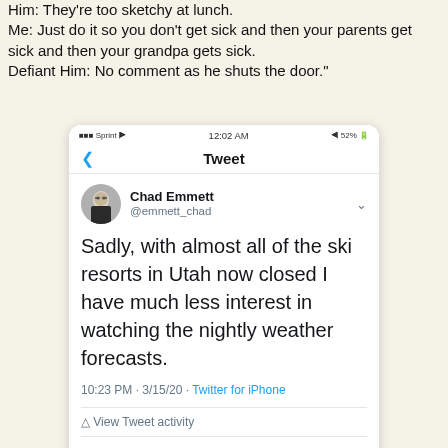Him: They're too sketchy at lunch.
Me: Just do it so you don't get sick and then your parents get sick and then your grandpa gets sick.
Defiant Him: No comment as he shuts the door."
[Figure (screenshot): Screenshot of a Twitter/iPhone interface showing a tweet by Chad Emmett (@emmett_chad): 'Sadly, with almost all of the ski resorts in Utah now closed I have much less interest in watching the nightly weather forecasts.' Posted 10:23 PM · 3/15/20 · Twitter for iPhone. Shows 5 Likes and tweet action icons.]